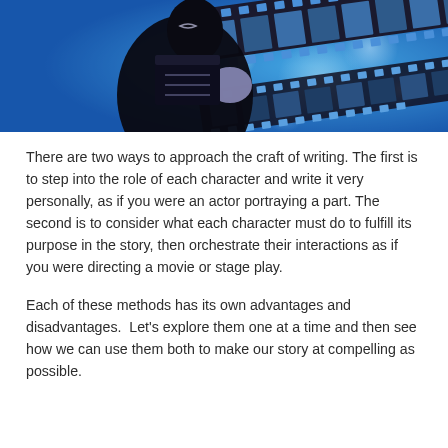[Figure (illustration): Illustration of a silhouetted figure in black holding a clapperboard or folder, set against a vivid blue background with bokeh light effects and a film strip overlay running diagonally across the top-right.]
There are two ways to approach the craft of writing. The first is to step into the role of each character and write it very personally, as if you were an actor portraying a part. The second is to consider what each character must do to fulfill its purpose in the story, then orchestrate their interactions as if you were directing a movie or stage play.
Each of these methods has its own advantages and disadvantages.  Let's explore them one at a time and then see how we can use them both to make our story at compelling as possible.